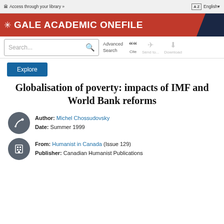Access through your library »      English
GALE ACADEMIC ONEFILE
[Figure (screenshot): Search bar with Advanced Search, Cite, Send to, Download icons]
Explore
Globalisation of poverty: impacts of IMF and World Bank reforms
Author: Michel Chossudovsky
Date: Summer 1999
From: Humanist in Canada (Issue 129)
Publisher: Canadian Humanist Publications